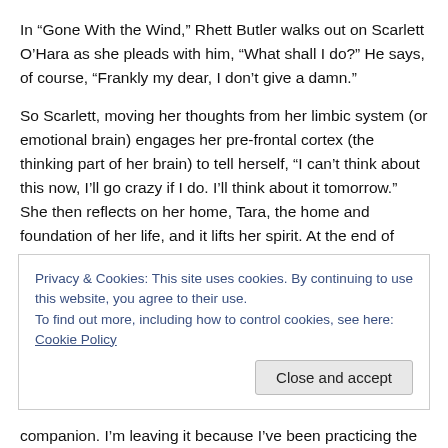In “Gone With the Wind,” Rhett Butler walks out on Scarlett O’Hara as she pleads with him, “What shall I do?” He says, of course, “Frankly my dear, I don’t give a damn.”
So Scarlett, moving her thoughts from her limbic system (or emotional brain) engages her pre-frontal cortex (the thinking part of her brain) to tell herself, “I can’t think about this now, I’ll go crazy if I do. I’ll think about it tomorrow.” She then reflects on her home, Tara, the home and foundation of her life, and it lifts her spirit. At the end of “Gone With the Wind,” we don’t worry about Scarlett’s
Privacy & Cookies: This site uses cookies. By continuing to use this website, you agree to their use.
To find out more, including how to control cookies, see here: Cookie Policy
companion. I’m leaving it because I’ve been practicing the